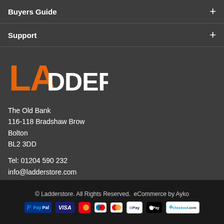Buyers Guide
Support
[Figure (logo): Ladderstore logo — stylized text with orange 'LA' and white 'DDERSTORE']
The Old Bank
116-118 Bradshaw Brow
Bolton
BL2 3DD
Tel: 01204 590 232
info@ladderstore.com
[Figure (illustration): Social media icons: Facebook, Twitter, Instagram, LinkedIn]
© Ladderstore. All Rights Reserved.  eCommerce by Ayko
[Figure (logo): Payment method logos: PayPal, VISA, Mastercard, Maestro, Mastercard, Google Pay, Apple Pay, checkout.com]